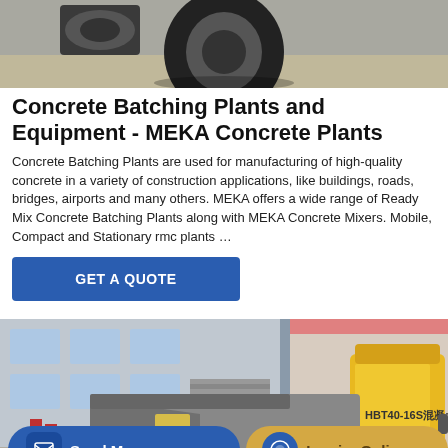[Figure (photo): Top portion of a vehicle/tire on a concrete surface, partial view]
Concrete Batching Plants and Equipment - MEKA Concrete Plants
Concrete Batching Plants are used for manufacturing of high-quality concrete in a variety of construction applications, like buildings, roads, bridges, airports and many others. MEKA offers a wide range of Ready Mix Concrete Batching Plants along with MEKA Concrete Mixers. Mobile, Compact and Stationary rmc plants …
[Figure (other): Blue button with text GET A QUOTE]
[Figure (photo): Yellow concrete pump machine labeled HBT40-16S in front of an industrial building]
[Figure (other): Bottom bar with Send Message button (blue) and Inquiry Online button (gold/yellow)]